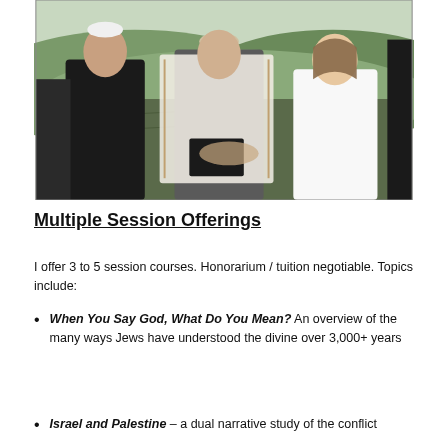[Figure (photo): A Jewish wedding ceremony outdoors with a couple exchanging rings while an officiant wearing a tallit (prayer shawl) and kippah reads from a book, with green hills and vineyards in the background.]
Multiple Session Offerings
I offer 3 to 5 session courses. Honorarium / tuition negotiable. Topics include:
When You Say God, What Do You Mean? An overview of the many ways Jews have understood the divine over 3,000+ years
Israel and Palestine – a dual narrative study of the conflict